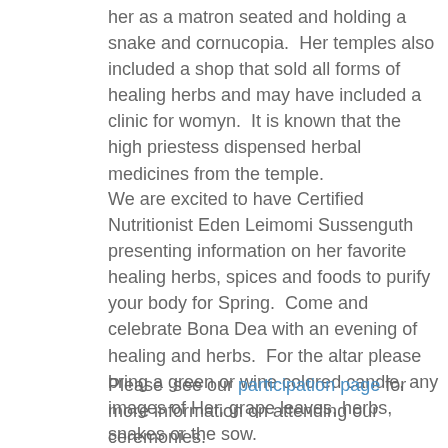her as a matron seated and holding a snake and cornucopia.  Her temples also included a shop that sold all forms of healing herbs and may have included a clinic for womyn.  It is known that the high priestess dispensed herbal medicines from the temple.
We are excited to have Certified Nutritionist Eden Leimomi Sussenguth presenting information on her favorite healing herbs, spices and foods to purify your body for Spring.  Come and celebrate Bona Dea with an evening of healing and herbs.  For the altar please bring a green or wine colored candle, any images of Her, grape leaves, herbs, snakes or the sow.
Please  see our participation page for more information on attending our ceremonies.
Kahuna Leilani Birely
Daughters of the Goddess